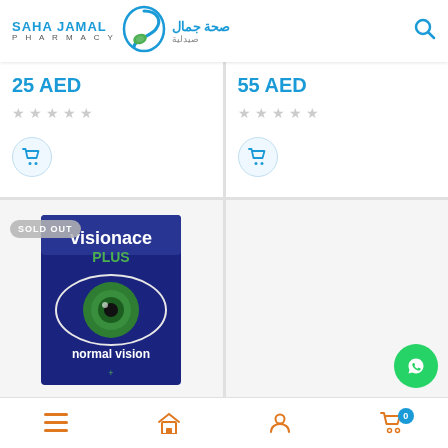[Figure (logo): Saha Jamal Pharmacy logo with Arabic text and green leaf icon]
25 AED
[Figure (other): 5 empty star rating icons]
[Figure (other): Shopping cart button circle icon]
55 AED
[Figure (other): 5 empty star rating icons]
[Figure (other): Shopping cart button circle icon]
[Figure (photo): Visionace Plus eye supplement product box with 'normal vision' text and eye graphic. SOLD OUT badge overlay.]
[Figure (other): Empty product cell placeholder]
[Figure (other): WhatsApp floating action button (green circle with WhatsApp icon)]
[Figure (other): Bottom navigation bar with hamburger menu, home, user, and cart (0) icons in orange]